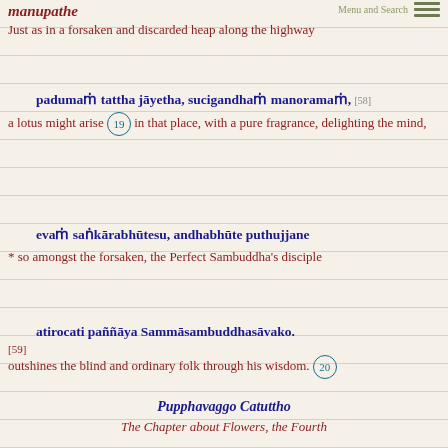manupathe
Menu and Search
Just as in a forsaken and discarded heap along the highway
padumaṁ tattha jāyetha, sucigandhaṁ manoramaṁ, [58] a lotus might arise 19 in that place, with a pure fragrance, delighting the mind,
evaṁ saṅkārabhūtesu, andhabhūte puthujjane * so amongst the forsaken, the Perfect Sambuddha's disciple
atirocati paññāya Sammāsambuddhasāvako. [59] outshines the blind and ordinary folk through his wisdom. 20
Pupphavaggo Catuttho The Chapter about Flowers, the Fourth